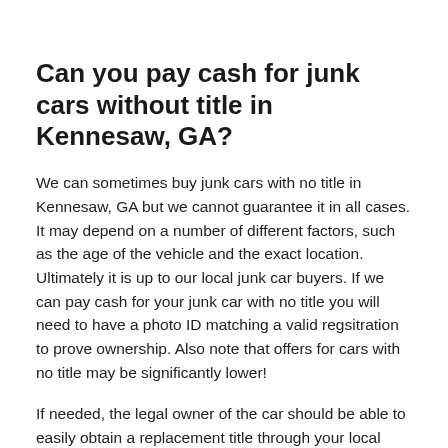Can you pay cash for junk cars without title in Kennesaw, GA?
We can sometimes buy junk cars with no title in Kennesaw, GA but we cannot guarantee it in all cases. It may depend on a number of different factors, such as the age of the vehicle and the exact location. Ultimately it is up to our local junk car buyers. If we can pay cash for your junk car with no title you will need to have a photo ID matching a valid regsitration to prove ownership. Also note that offers for cars with no title may be significantly lower!
If needed, the legal owner of the car should be able to easily obtain a replacement title through your local Kennesaw, GA DMV as seen below. Most states require a small fee for replacement and turnaround time can be anywhere from instantly to a couple of weeks: